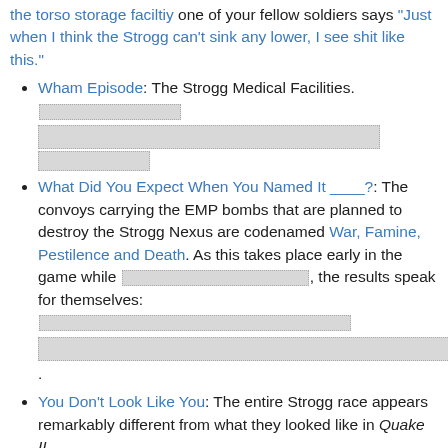the torso storage faciltiy one of your fellow soldiers says "Just when I think the Strogg can't sink any lower, I see shit like this."
Wham Episode: The Strogg Medical Facilities. [redacted content]
What Did You Expect When You Named It ____?: The convoys carrying the EMP bombs that are planned to destroy the Strogg Nexus are codenamed War, Famine, Pestilence and Death. As this takes place early in the game while [redacted], the results speak for themselves: [redacted]. [redacted].
You Don't Look Like You: The entire Strogg race appears remarkably different from what they looked like in Quake II.
Zombie Apocalypse: The level before the second Hannibal intermission is all about this, as you face off with